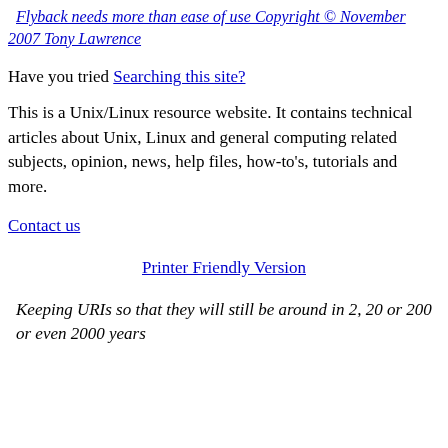Flyback needs more than ease of use Copyright © November 2007 Tony Lawrence
Have you tried Searching this site?
This is a Unix/Linux resource website. It contains technical articles about Unix, Linux and general computing related subjects, opinion, news, help files, how-to's, tutorials and more.
Contact us
Printer Friendly Version
Keeping URIs so that they will still be around in 2, 20 or 200 or even 2000 years